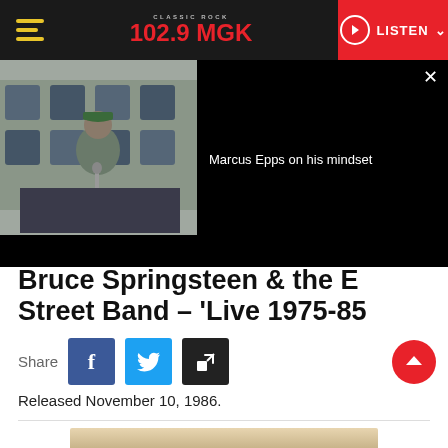102.9 MGK CLASSIC ROCK | LISTEN
[Figure (screenshot): Press conference video still showing a person in green cap seated at a table with Eagles/Toyota branded backdrop; overlay panel with text 'Marcus Epps on his mindset' on black background with close button]
Bruce Springsteen & the E Street Band – 'Live 1975-85
Share
Released November 10, 1986.
[Figure (photo): Partial bottom image showing a light-colored surface, possibly an album cover]